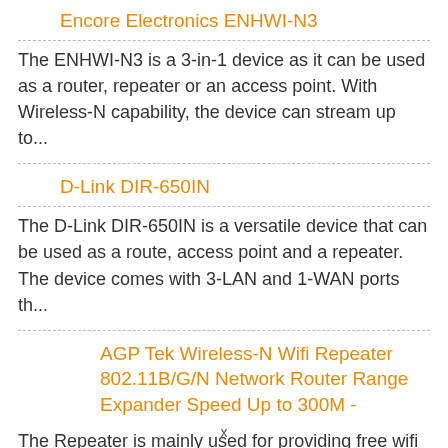Encore Electronics ENHWI-N3
The ENHWI-N3 is a 3-in-1 device as it can be used as a router, repeater or an access point. With Wireless-N capability, the device can stream up to...
D-Link DIR-650IN
The D-Link DIR-650IN is a versatile device that can be used as a route, access point and a repeater. The device comes with 3-LAN and 1-WAN ports th...
AGP Tek Wireless-N Wifi Repeater 802.11B/G/N Network Router Range Expander Speed Up to 300M -
The Repeater is mainly used for providing free wifi service in big area such as factory, community, street or etc.If there are more repeaters or bi...
x